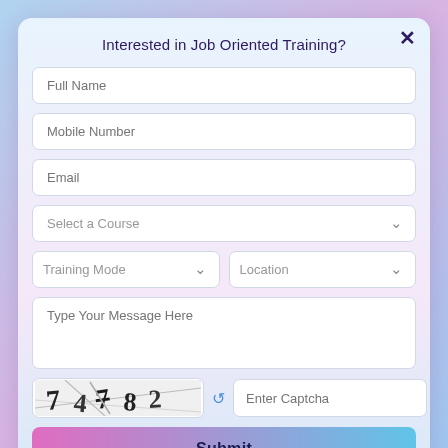Interested in Job Oriented Training?
Full Name
Mobile Number
Email
Select a Course
Training Mode
Location
Type Your Message Here
[Figure (other): CAPTCHA image showing distorted text '74782']
Enter Captcha
Submit